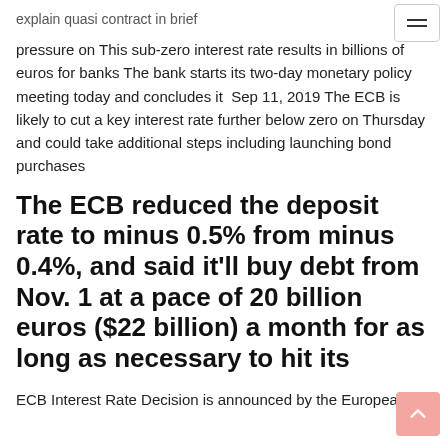explain quasi contract in brief
pressure on This sub-zero interest rate results in billions of euros for banks The bank starts its two-day monetary policy meeting today and concludes it  Sep 11, 2019 The ECB is likely to cut a key interest rate further below zero on Thursday and could take additional steps including launching bond purchases
The ECB reduced the deposit rate to minus 0.5% from minus 0.4%, and said it’ll buy debt from Nov. 1 at a pace of 20 billion euros ($22 billion) a month for as long as necessary to hit its
ECB Interest Rate Decision is announced by the European